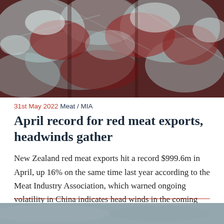[Figure (photo): Close-up photograph of frozen red meat cuts wrapped in plastic, showing ice crystals on the surface]
31st May 2022 Meat / MIA
April record for red meat exports, headwinds gather
New Zealand red meat exports hit a record $999.6m in April, up 16% on the same time last year according to the Meat Industry Association, which warned ongoing volatility in China indicates head winds in the coming months.
[Figure (photo): Partial view of another image, showing a grey-blue background, cut off at bottom of page]